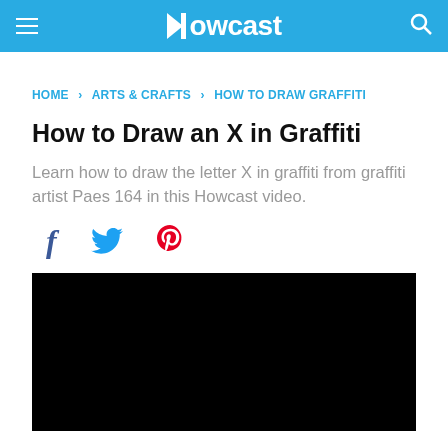Howcast
HOME › ARTS & CRAFTS › HOW TO DRAW GRAFFITI
How to Draw an X in Graffiti
Learn how to draw the letter X in graffiti from graffiti artist Paes 164 in this Howcast video.
[Figure (screenshot): Social share icons: Facebook (f), Twitter (bird), Pinterest (P)]
[Figure (screenshot): Black video player area]